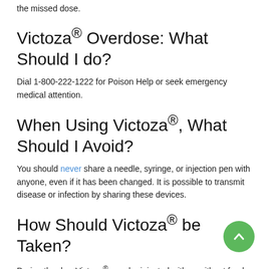the missed dose.
Victoza® Overdose: What Should I do?
Dial 1-800-222-1222 for Poison Help or seek emergency medical attention.
When Using Victoza®, What Should I Avoid?
You should never share a needle, syringe, or injection pen with anyone, even if it has been changed. It is possible to transmit disease or infection by sharing these devices.
How Should Victoza® be Taken?
During the day, Victoza® may be injected with or without food (generic name: liraglutide). However, to ensure you